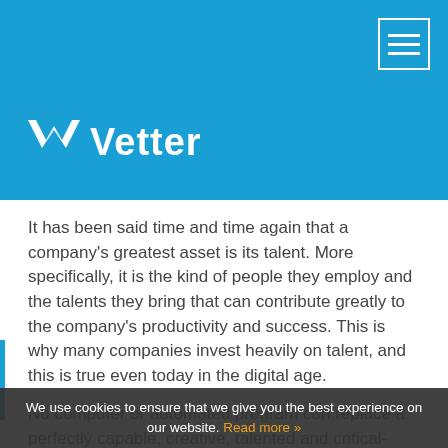[Figure (logo): Vetter company logo with white stylized bird/checkmark icon and white 'Vetter' text on blue background]
It has been said time and time again that a company’s greatest asset is its talent. More specifically, it is the kind of people they employ and the talents they bring that can contribute greatly to the company’s productivity and success. This is why many companies invest heavily on talent, and this is true even today in the digital age.
No computer or automated program can replace a perfectly capable, creative, talented and critical-thinking person. Though most of these technologies can help lighten and speed up work processes and production, it cannot come up with plans, strategies and hard written output like a human being can. But how do… contribute to a
We use cookies to ensure that we give you the best experience on our website. Read more »